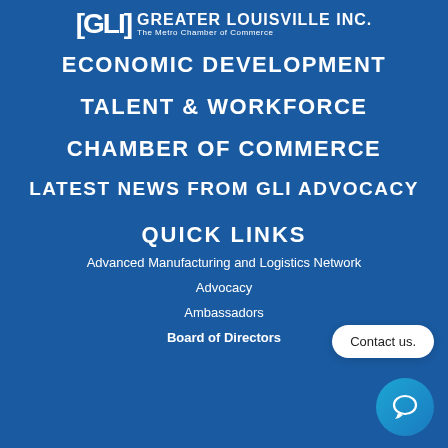[Figure (logo): Greater Louisville Inc. logo — [GLI] in brackets with text 'GREATER LOUISVILLE INC. The Metro Chamber of Commerce']
ECONOMIC DEVELOPMENT
TALENT & WORKFORCE
CHAMBER OF COMMERCE
LATEST NEWS FROM GLI ADVOCACY
QUICK LINKS
Advanced Manufacturing and Logistics Network
Advocacy
Ambassadors
Board of Directors
[Figure (other): Contact us chat bubble button with speech bubble icon]